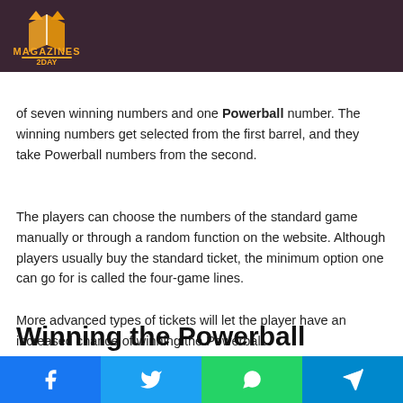Magazines 2Day logo header
Players are allowed to take a "standard ticket" that gives them a chance of winning a single prize. A standard game consists of seven winning numbers and one Powerball number. The winning numbers get selected from the first barrel, and they take Powerball numbers from the second.
The players can choose the numbers of the standard game manually or through a random function on the website. Although players usually buy the standard ticket, the minimum option one can go for is called the four-game lines.
More advanced types of tickets will let the player have an increased chance of winning the Powerball.
Winning the Powerball